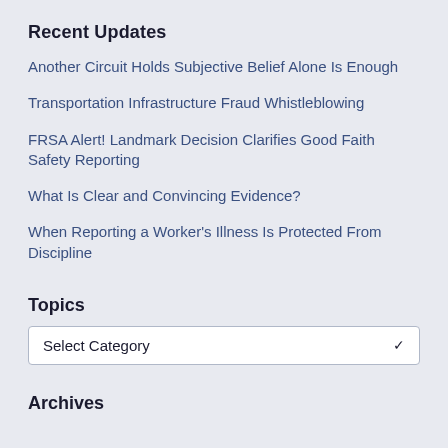Recent Updates
Another Circuit Holds Subjective Belief Alone Is Enough
Transportation Infrastructure Fraud Whistleblowing
FRSA Alert! Landmark Decision Clarifies Good Faith Safety Reporting
What Is Clear and Convincing Evidence?
When Reporting a Worker's Illness Is Protected From Discipline
Topics
Select Category
Archives